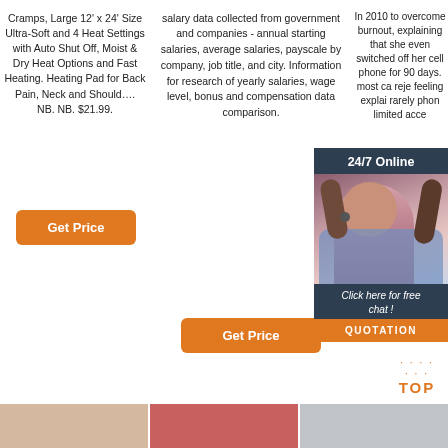Cramps, Large 12' x 24' Size Ultra-Soft and 4 Heat Settings with Auto Shut Off, Moist & Dry Heat Options and Fast Heating. Heating Pad for Back Pain, Neck and Should…. NB. NB. $21.99.
salary data collected from government and companies - annual starting salaries, average salaries, payscale by company, job title, and city. Information for research of yearly salaries, wage level, bonus and compensation data comparison.
In 2010 to overcome burnout, explaining that she even switched off her cell phone for 90 days. most ca reje feeling explai rarely phon limited acce
[Figure (other): 24/7 Online chat support widget with photo of female customer service agent wearing headset]
Click here for free chat !
QUOTATION
Get Price
Get Price
Get Price
[Figure (photo): Three product thumbnail images at bottom of page]
[Figure (other): TOP back-to-top badge with orange dots decoration]